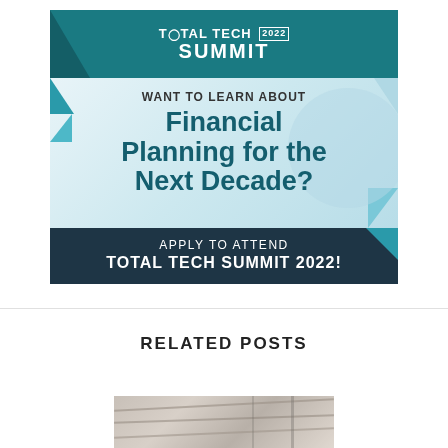[Figure (infographic): Total Tech Summit 2022 advertisement banner. Teal header with logo. Light blue body with text 'WANT TO LEARN ABOUT Financial Planning for the Next Decade?'. Dark bottom bar with 'APPLY TO ATTEND TOTAL TECH SUMMIT 2022!']
RELATED POSTS
[Figure (photo): Partial photo of a building exterior with architectural lines, shown at the bottom of the page.]